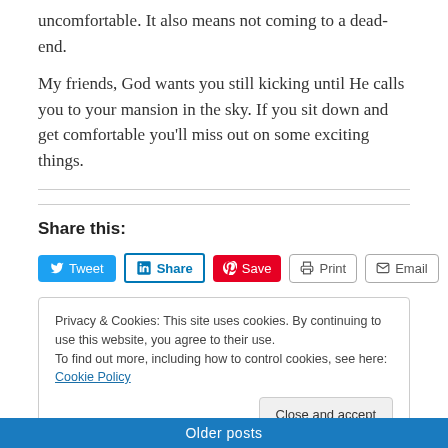uncomfortable. It also means not coming to a dead-end.
My friends, God wants you still kicking until He calls you to your mansion in the sky. If you sit down and get comfortable you'll miss out on some exciting things.
Share this:
Tweet | Share | Save | Print | Email
Privacy & Cookies: This site uses cookies. By continuing to use this website, you agree to their use.
To find out more, including how to control cookies, see here: Cookie Policy
Older posts